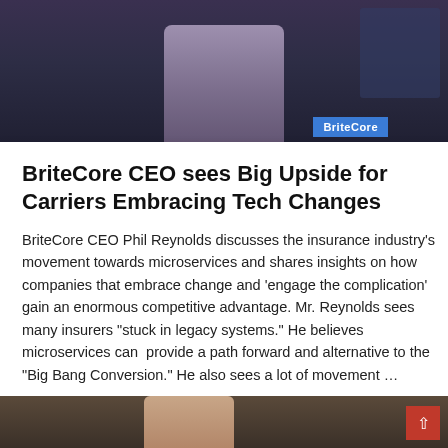[Figure (photo): Photo of a man (BriteCore CEO Phil Reynolds) in a blazer at a broadcast/event setting, with a BriteCore logo badge visible in the lower right of the image]
BriteCore CEO sees Big Upside for Carriers Embracing Tech Changes
BriteCore CEO Phil Reynolds discusses the insurance industry’s movement towards microservices and shares insights on how companies that embrace change and ‘engage the complication’ gain an enormous competitive advantage. Mr. Reynolds sees many insurers “stuck in legacy systems.” He believes microservices can provide a path forward and alternative to the “Big Bang Conversion.” He also sees a lot of movement …
Read More ›